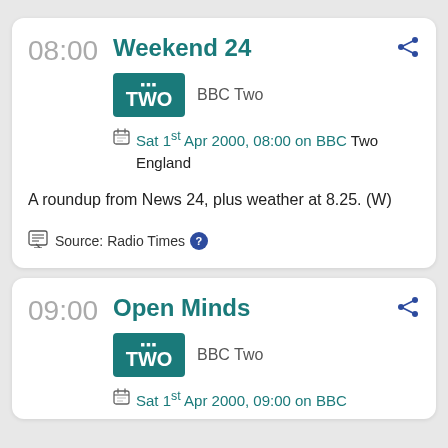08:00
Weekend 24
[Figure (logo): BBC TWO logo — teal rectangle with 'BBC TWO' text in white]
BBC Two
Sat 1st Apr 2000, 08:00 on BBC Two England
A roundup from News 24, plus weather at 8.25. (W)
Source: Radio Times
09:00
Open Minds
[Figure (logo): BBC TWO logo — teal rectangle with 'BBC TWO' text in white]
BBC Two
Sat 1st Apr 2000, 09:00 on BBC